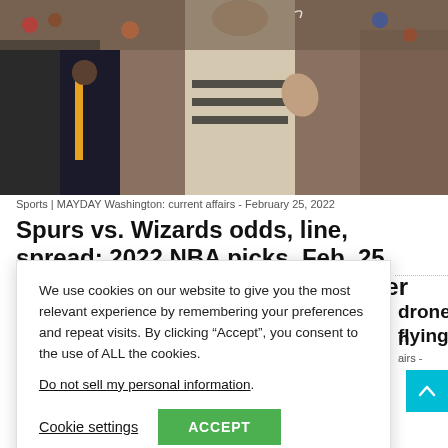[Figure (photo): Basketball game photo showing a referee in striped uniform in the center, with players from two teams visible, one in dark uniform with gold accents, arena crowd in background]
Sports | MAYDAY Washington: current affairs - February 25, 2022
Spurs vs. Wizards odds, line, spread: 2022 NBA picks, Feb. 25 predictions from proven computer model
We use cookies on our website to give you the most relevant experience by remembering your preferences and repeat visits. By clicking “Accept”, you consent to the use of ALL the cookies.
Do not sell my personal information.
Cookie settings
ACCEPT
drones flying
airs -
shes at school bus stop, killing 10